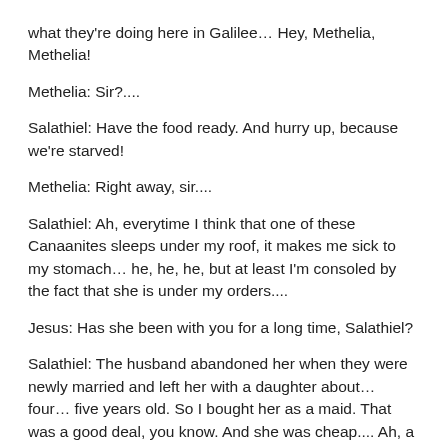what they're doing here in Galilee… Hey, Methelia, Methelia!
Methelia: Sir?....
Salathiel: Have the food ready. And hurry up, because we're starved!
Methelia: Right away, sir....
Salathiel: Ah, everytime I think that one of these Canaanites sleeps under my roof, it makes me sick to my stomach… he, he, he, but at least I'm consoled by the fact that she is under my orders....
Jesus: Has she been with you for a long time, Salathiel?
Salathiel: The husband abandoned her when they were newly married and left her with a daughter about… four… five years old. So I bought her as a maid. That was a good deal, you know. And she was cheap.... Ah, a bitch